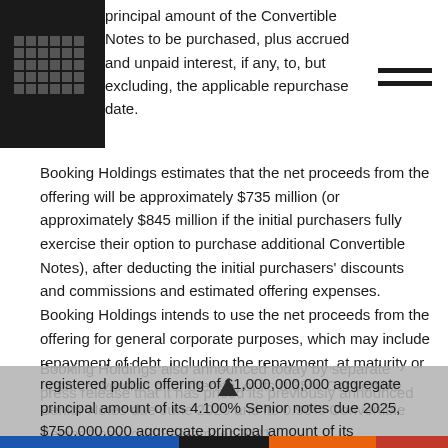principal amount of the Convertible Notes to be purchased, plus accrued and unpaid interest, if any, to, but excluding, the applicable repurchase date.
Booking Holdings estimates that the net proceeds from the offering will be approximately $735 million (or approximately $845 million if the initial purchasers fully exercise their option to purchase additional Convertible Notes), after deducting the initial purchasers' discounts and commissions and estimated offering expenses. Booking Holdings intends to use the net proceeds from the offering for general corporate purposes, which may include repayment of debt, including the repayment, at maturity or upon conversion prior thereto, of its 0.35% Convertible Senior Notes due June 2020 and its 0.90% Convertible Senior Notes due September 2021.
Booking Holdings also announced today by separate press release that it has priced its previously announced registered public offering of $1,000,000,000 aggregate principal amount of its 4.100% Senior notes due 2025, $750,000,000 aggregate principal amount of its 4.500%